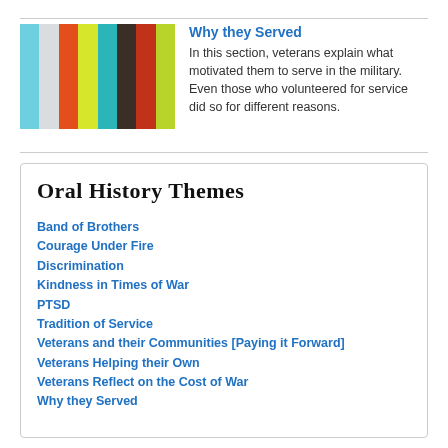[Figure (illustration): Color bars graphic with vertical stripes in light blue, white/light, orange-red, yellow-green, teal, dark brown, red, and lime green colors]
Why they Served
In this section, veterans explain what motivated them to serve in the military. Even those who volunteered for service did so for different reasons.
Oral History Themes
Band of Brothers
Courage Under Fire
Discrimination
Kindness in Times of War
PTSD
Tradition of Service
Veterans and their Communities [Paying it Forward]
Veterans Helping their Own
Veterans Reflect on the Cost of War
Why they Served